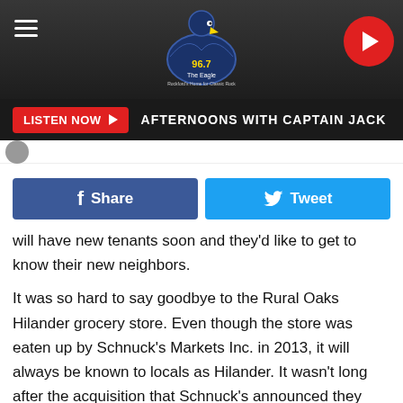[Figure (screenshot): 96.7 The Eagle radio station website header with logo, hamburger menu, and play button]
LISTEN NOW ▶  AFTERNOONS WITH CAPTAIN JACK
[Figure (screenshot): Profile image thumbnail on left side]
will have new tenants soon and they'd like to get to know their new neighbors.
It was so hard to say goodbye to the Rural Oaks Hilander grocery store. Even though the store was eaten up by Schnuck's Markets Inc. in 2013, it will always be known to locals as Hilander. It wasn't long after the acquisition that Schnuck's announced they would be closing the 1715 Rural Street location. It did close in May of 2014.